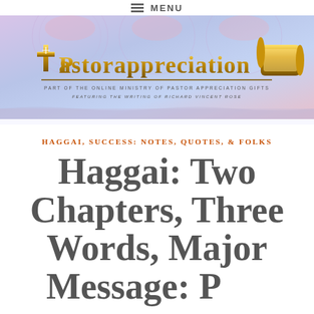≡ MENU
[Figure (logo): PastorAppreciation.Z logo with gold cross and scroll, on a blue-pink decorative banner background. Subtitle: PART OF THE ONLINE MINISTRY OF PASTOR APPRECIATION GIFTS. FEATURING THE WRITING OF RICHARD VINCENT ROSE]
HAGGAI, SUCCESS: NOTES, QUOTES, & FOLKS
Haggai: Two Chapters, Three Words, Major Message: Part